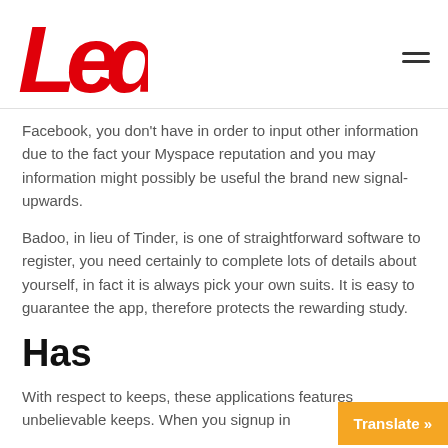Led
Facebook, you don't have in order to input other information due to the fact your Myspace reputation and you may information might possibly be useful the brand new signal-upwards.
Badoo, in lieu of Tinder, is one of straightforward software to register, you need certainly to complete lots of details about yourself, in fact it is always pick your own suits. It is easy to guarantee the app, therefore protects the rewarding study.
Has
With respect to keeps, these applications features unbelievable keeps. When you signup in